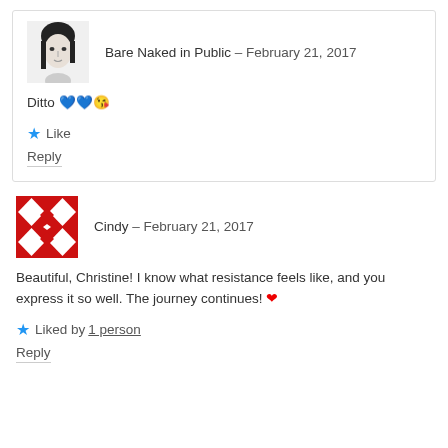Bare Naked in Public – February 21, 2017
Ditto 💙💙😘
Like
Reply
Cindy – February 21, 2017
Beautiful, Christine! I know what resistance feels like, and you express it so well. The journey continues! ❤
Liked by 1 person
Reply